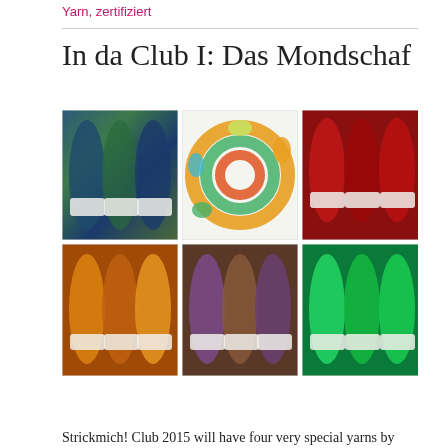Yarn, zertifiziert
In da Club I: Das Mondschaf
[Figure (photo): Six photos of hand-dyed yarn skeins and fiber arranged in a 2x3 grid: top-left shows blue-green variegated skeins, top-center shows a coiled green-orange-yellow variegated fiber roving, top-right shows red/crimson skeins, bottom-left shows orange-gold skeins, bottom-center shows purple-brown variegated skeins, bottom-right shows bright green skeins.]
Strickmich! Club 2015 will have four very special yarns by